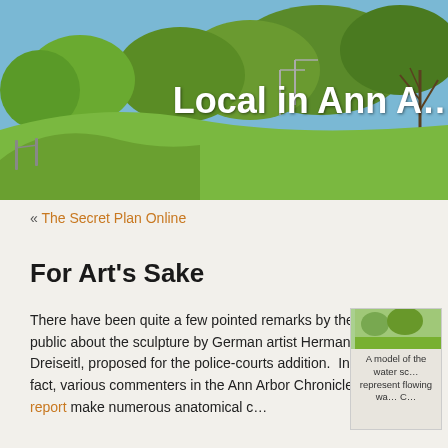[Figure (photo): Outdoor park/landscape photo with trees and green grass, sky visible in background. Part of a website header for 'Local in Ann Arbor'.]
Local in Ann A…
« The Secret Plan Online
For Art's Sake
There have been quite a few pointed remarks by the public about the sculpture by German artist Herman Dreiseitl, proposed for the police-courts addition. In fact, various commenters in the Ann Arbor Chronicle report make numerous anatomical c…
[Figure (photo): A model of the water sc… represent flowing wa… C…]
A model of the water sc… represent flowing wa… C…